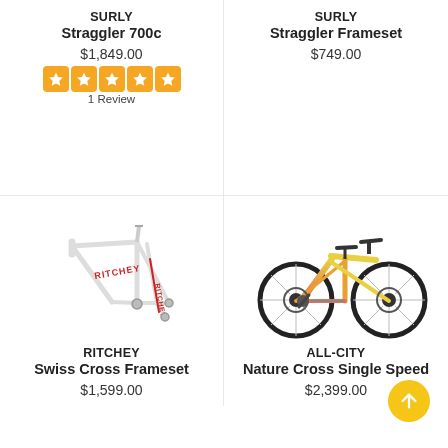SURLY
Straggler 700c
$1,849.00
1 Review
SURLY
Straggler Frameset
$749.00
[Figure (photo): Ritchey Swiss Cross bicycle frameset in white with red accents, showing frame and fork separately]
RITCHEY
Swiss Cross Frameset
$1,599.00
[Figure (photo): All-City Nature Cross Single Speed bicycle in yellow-to-red gradient colorway]
ALL-CITY
Nature Cross Single Speed
$2,399.00